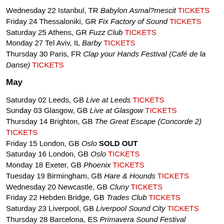Wednesday 22 Istanbul, TR Babylon Asmal?mescit TICKETS
Friday 24 Thessaloniki, GR Fix Factory of Sound TICKETS
Saturday 25 Athens, GR Fuzz Club TICKETS
Monday 27 Tel Aviv, IL Barby TICKETS
Thursday 30 Paris, FR Clap your Hands Festival (Café de la Danse) TICKETS
May
Saturday 02 Leeds, GB Live at Leeds TICKETS
Sunday 03 Glasgow, GB Live at Glasgow TICKETS
Thursday 14 Brighton, GB The Great Escape (Concorde 2) TICKETS
Friday 15 London, GB Oslo SOLD OUT
Saturday 16 London, GB Oslo TICKETS
Monday 18 Exeter, GB Phoenix TICKETS
Tuesday 19 Birmingham, GB Hare & Hounds TICKETS
Wednesday 20 Newcastle, GB Cluny TICKETS
Friday 22 Hebden Bridge, GB Trades Club TICKETS
Saturday 23 Liverpool, GB Liverpool Sound City TICKETS
Thursday 28 Barcelona, ES Primavera Sound Festival TICKETS
Friday 29 Nimes, FR This Is Not A Love Song Festival